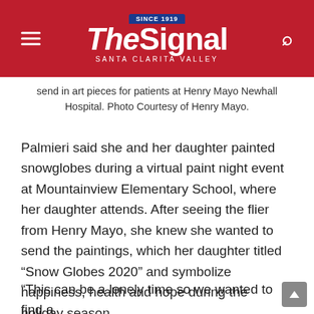The Signal – Santa Clarita Valley
send in art pieces for patients at Henry Mayo Newhall Hospital. Photo Courtesy of Henry Mayo.
Palmieri said she and her daughter painted snowglobes during a virtual paint night event at Mountainview Elementary School, where her daughter attends. After seeing the flier from Henry Mayo, she knew she wanted to send the paintings, which her daughter titled “Snow Globes 2020” and symbolize happiness, health and hope during the holiday season.
“This can be a lonely time so we wanted to find a